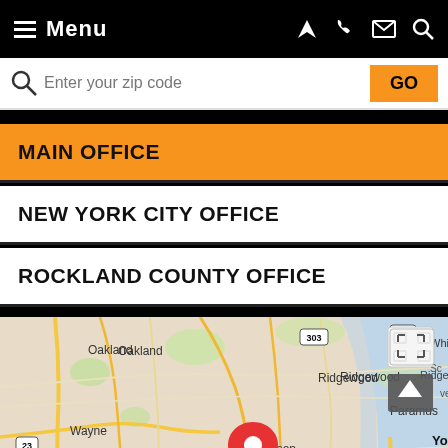Menu
Enter your zip code  GO
MAIN OFFICE
NEW YORK CITY OFFICE
ROCKLAND COUNTY OFFICE
[Figure (map): Google Maps view showing the New York/New Jersey area with a red location pin placed over Hackensack, NJ. Visible cities include Oakland, Ridgewood, Paramus, Wayne, Paterson, Clifton, Yonkers, and New Rochelle. Route markers visible include 23, 202, 303, 9A, 80, 95, 87.]